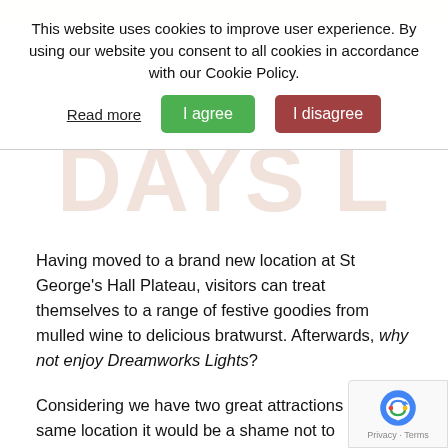This website uses cookies to improve user experience. By using our website you consent to all cookies in accordance with our Cookie Policy.
Read more | I agree | I disagree
Having moved to a brand new location at St George's Hall Plateau, visitors can treat themselves to a range of festive goodies from mulled wine to delicious bratwurst. Afterwards, why not enjoy Dreamworks Lights?
Considering we have two great attractions in the same location it would be a shame not to experience the best of both.
Read more about this event in our November Preview Blog.